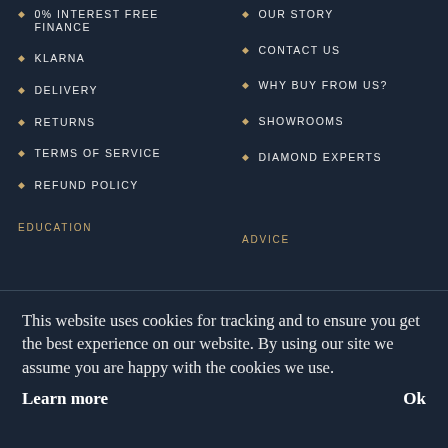0% INTEREST FREE FINANCE
KLARNA
DELIVERY
RETURNS
TERMS OF SERVICE
REFUND POLICY
OUR STORY
CONTACT US
WHY BUY FROM US?
SHOWROOMS
DIAMOND EXPERTS
EDUCATION
ADVICE
This website uses cookies for tracking and to ensure you get the best experience on our website. By using our site we assume you are happy with the cookies we use.
Learn more
Ok